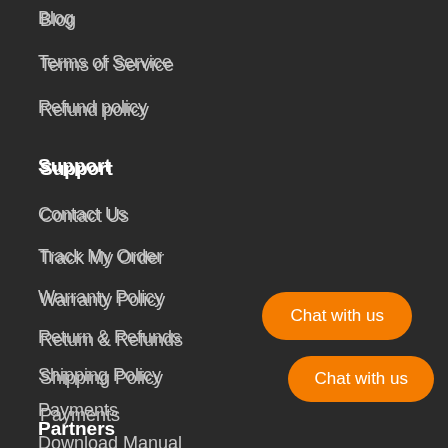Blog
Terms of Service
Refund policy
Support
Contact Us
Track My Order
Warranty Policy
Return & Refunds
Shipping Policy
Payments
Download Manual
Chat with us
Partners